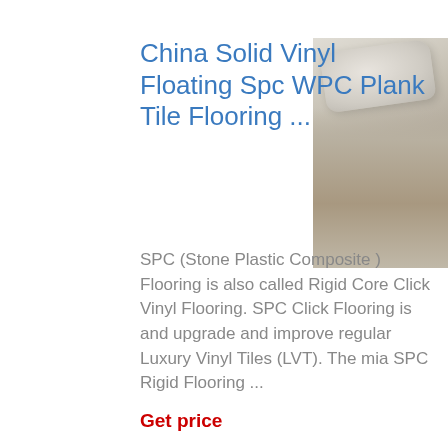China Solid Vinyl Floating Spc WPC Plank Tile Flooring ...
[Figure (photo): Photo of a chair with cushions and pillows in a light-colored room with vinyl/wood-look flooring, partially cropped on the right side.]
SPC (Stone Plastic Composite ) Flooring is also called Rigid Core Click Vinyl Flooring. SPC Click Flooring is and upgrade and improve regular Luxury Vinyl Tiles (LVT). The mia SPC Rigid Flooring ...
Get price